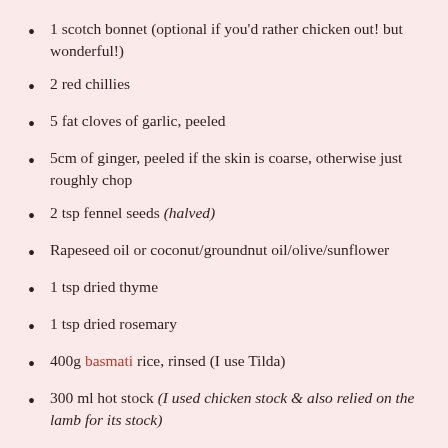1 scotch bonnet (optional if you'd rather chicken out! but wonderful!)
2 red chillies
5 fat cloves of garlic, peeled
5cm of ginger, peeled if the skin is coarse, otherwise just roughly chop
2 tsp fennel seeds (halved)
Rapeseed oil or coconut/groundnut oil/olive/sunflower
1 tsp dried thyme
1 tsp dried rosemary
400g basmati rice, rinsed (I use Tilda)
300 ml hot stock (I used chicken stock & also relied on the lamb for its stock)